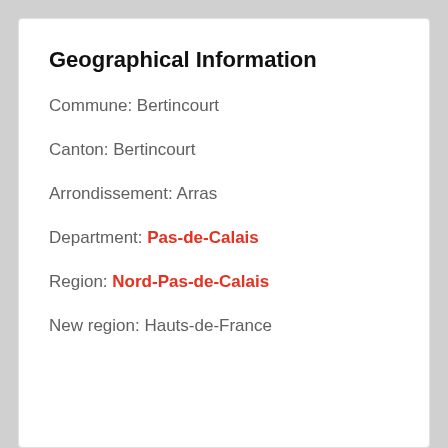Geographical Information
Commune: Bertincourt
Canton: Bertincourt
Arrondissement: Arras
Department: Pas-de-Calais
Region: Nord-Pas-de-Calais
New region: Hauts-de-France